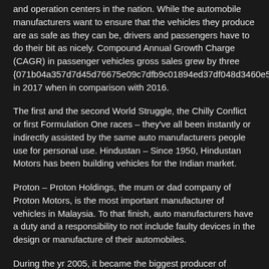and operation centers in the nation. While the automobile manufacturers want to ensure that the vehicles they produce are as safe as they can be, drivers and passengers have to do their bit as nicely. Compound Annual Growth Charge (CAGR) in passenger vehicles gross sales grew by three {071b04a357d7d45d76675e09c7dfb9c01894ed37df048d3460e53bd5736 in 2017 when in comparison with 2016.
The first and the second World Struggle, the Chilly Conflict or first Formulation One races – they've all been instantly or indirectly assisted by the same auto manufacturers people use for personal use. Hindustan – Since 1950, Hindustan Motors has been building vehicles for the Indian market.
Proton – Proton Holdings, the mum or dad company of Proton Motors, is the most important manufacturer of vehicles in Malaysia. To that finish, auto manufacturers have a duty and a responsibility to not include faulty devices in the design or manufacture of their automobiles.
During the yr 2005, it became the biggest producer of industrial quality trucks on the planet Isuzu is now very well-known for its diesel engines and industrial autos. The explanation that this wiki is created is because there are no sites that comprises all the current car producers from the entire world (maybe the historic automotive manufacturers will seem later if this wiki has success).